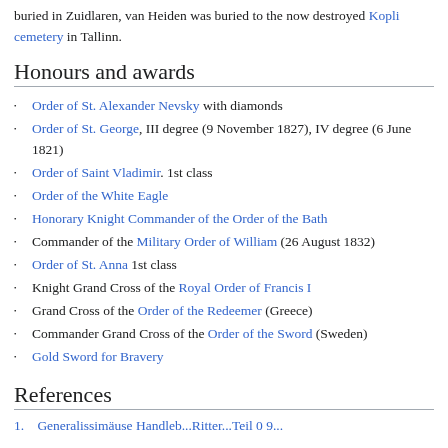buried in Zuidlaren, van Heiden was buried to the now destroyed Kopli cemetery in Tallinn.
Honours and awards
Order of St. Alexander Nevsky with diamonds
Order of St. George, III degree (9 November 1827), IV degree (6 June 1821)
Order of Saint Vladimir. 1st class
Order of the White Eagle
Honorary Knight Commander of the Order of the Bath
Commander of the Military Order of William (26 August 1832)
Order of St. Anna 1st class
Knight Grand Cross of the Royal Order of Francis I
Grand Cross of the Order of the Redeemer (Greece)
Commander Grand Cross of the Order of the Sword (Sweden)
Gold Sword for Bravery
References